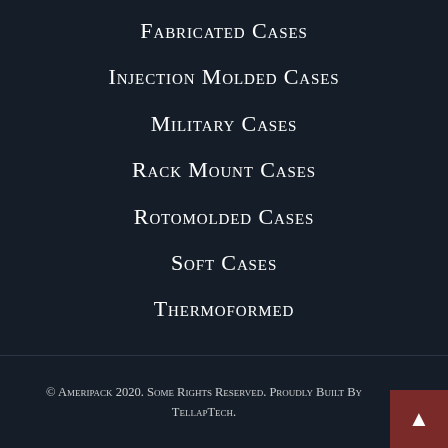Fabricated Cases
Injection Molded Cases
Military Cases
Rack Mount Cases
Rotomolded Cases
Soft Cases
Thermoformed
© Ameripack 2020. Some Rights Reserved. Proudly Built By TellapTech.